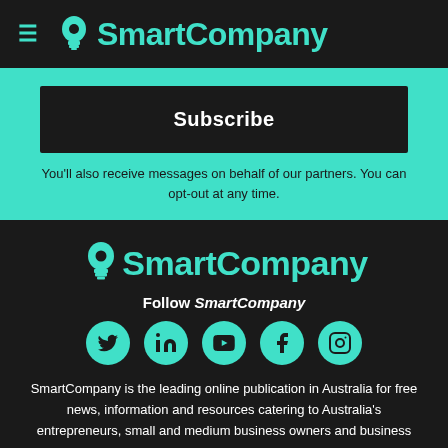SmartCompany
Subscribe
You'll also receive messages on behalf of our partners. You can opt-out at any time.
[Figure (logo): SmartCompany logo with lightbulb icon and teal text]
Follow SmartCompany
[Figure (infographic): Social media icons: Twitter, LinkedIn, YouTube, Facebook, Instagram]
SmartCompany is the leading online publication in Australia for free news, information and resources catering to Australia's entrepreneurs, small and medium business owners and business managers.